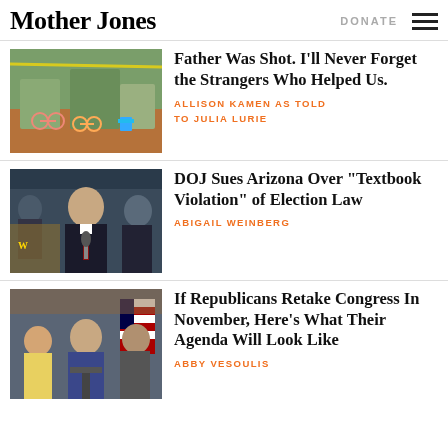Mother Jones | DONATE
[Figure (photo): Outdoor scene with colorful children's bikes and chairs at a public plaza]
Father Was Shot. I’ll Never Forget the Strangers Who Helped Us.
ALLISON KAMEN AS TOLD TO JULIA LURIE
[Figure (photo): Man in suit speaking at a microphone at a press conference]
DOJ Sues Arizona Over “Textbook Violation” of Election Law
ABIGAIL WEINBERG
[Figure (photo): Politicians at a press conference with American flags in background]
If Republicans Retake Congress In November, Here’s What Their Agenda Will Look Like
ABBY VESOULIS